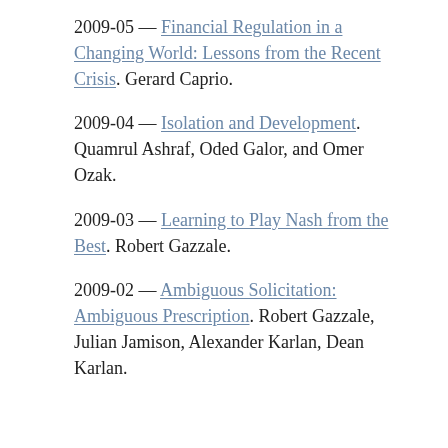2009-05 — Financial Regulation in a Changing World: Lessons from the Recent Crisis. Gerard Caprio.
2009-04 — Isolation and Development. Quamrul Ashraf, Oded Galor, and Omer Ozak.
2009-03 — Learning to Play Nash from the Best. Robert Gazzale.
2009-02 — Ambiguous Solicitation: Ambiguous Prescription. Robert Gazzale, Julian Jamison, Alexander Karlan, Dean Karlan.